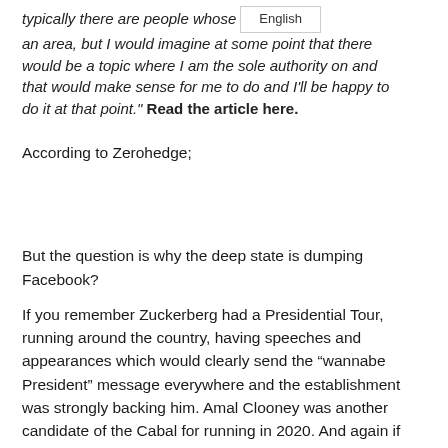typically there are people whose [English] an area, but I would imagine at some point that there would be a topic where I am the sole authority on and that would make sense for me to do and I'll be happy to do it at that point." Read the article here.
According to Zerohedge;
But the question is why the deep state is dumping Facebook?
If you remember Zuckerberg had a Presidential Tour, running around the country, having speeches and appearances which would clearly send the “wannabe President” message everywhere and the establishment was strongly backing him. Amal Clooney was another candidate of the Cabal for running in 2020. And again if